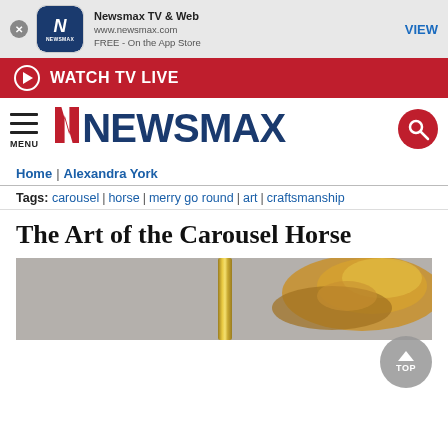[Figure (screenshot): Newsmax TV & Web app banner with icon, text and VIEW button]
WATCH TV LIVE
[Figure (logo): Newsmax logo with MENU icon and search button]
Home | Alexandra York
Tags: carousel | horse | merry go round | art | craftsmanship
The Art of the Carousel Horse
[Figure (photo): Partial image of a carousel horse with golden mane on a gold pole, grey background]